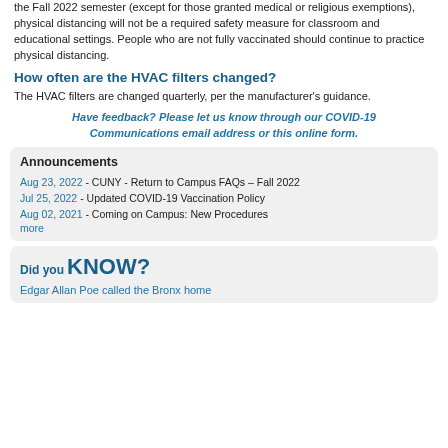the Fall 2022 semester (except for those granted medical or religious exemptions), physical distancing will not be a required safety measure for classroom and educational settings. People who are not fully vaccinated should continue to practice physical distancing.
How often are the HVAC filters changed?
The HVAC filters are changed quarterly, per the manufacturer's guidance.
Have feedback? Please let us know through our COVID-19 Communications email address or this online form.
| Announcements |
| Aug 23, 2022 - CUNY - Return to Campus FAQs – Fall 2022 |
| Jul 25, 2022 - Updated COVID-19 Vaccination Policy |
| Aug 02, 2021 - Coming on Campus: New Procedures |
| more |
[Figure (infographic): Did you KNOW? with text: Edgar Allan Poe called the Bronx home]